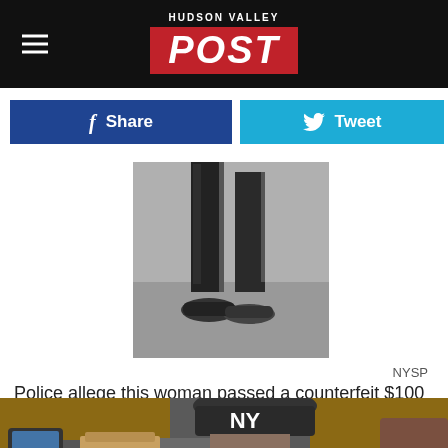HUDSON VALLEY POST
[Figure (logo): Hudson Valley Post logo with red background and white text]
[Figure (other): Facebook Share button (blue) and Twitter Tweet button (cyan)]
[Figure (photo): Black and white security camera image showing lower body of a person walking, wearing black pants and sneakers]
NYSP
Police allege this woman passed a counterfeit $100 at Tantillo's Farm Market, in the town of Gardiner.
[Figure (photo): Color photo of a person wearing a New York Yankees cap and a white mask, leaning over a counter]